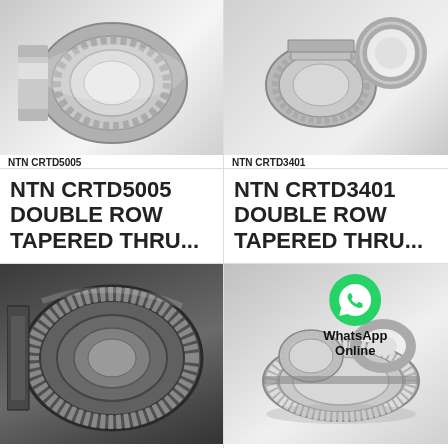[Figure (photo): NTN CRTD5005 double row tapered thrust bearing, silver metallic, top-left product photo]
NTN CRTD5005
[Figure (photo): NTN CRTD3401 double row tapered thrust bearing with separate ring, silver metallic, top-right product photo]
NTN CRTD3401
NTN CRTD5005 DOUBLE ROW TAPERED THRU...
NTN CRTD3401 DOUBLE ROW TAPERED THRU...
[Figure (photo): Large dark-colored double row tapered roller bearing, bottom-left product photo]
[Figure (photo): Silver tapered roller bearing set with WhatsApp Online overlay badge, bottom-right product photo]
WhatsApp Online
All Products
Contact Now